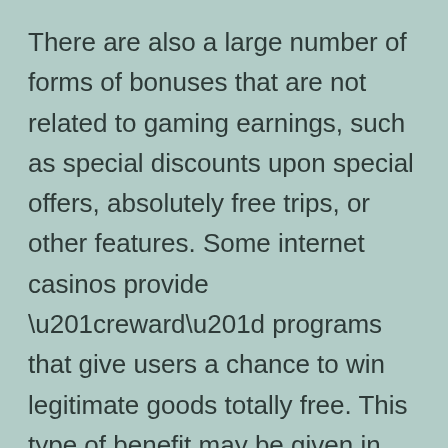There are also a large number of forms of bonuses that are not related to gaming earnings, such as special discounts upon special offers, absolutely free trips, or other features. Some internet casinos provide “reward” programs that give users a chance to win legitimate goods totally free. This type of benefit may be given in the form of vouchers, gift cards, or records. Most downloaded online casino application has its own types of additional bonuses and benefits.
Online gambling can be a fun experience, but